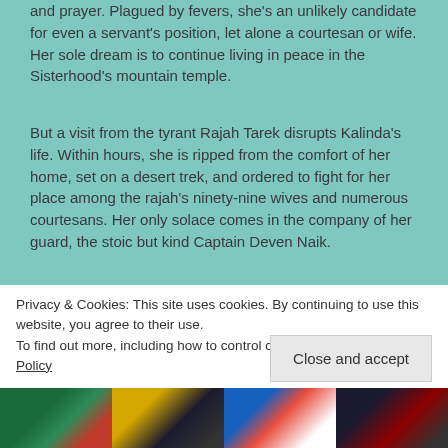and prayer. Plagued by fevers, she's an unlikely candidate for even a servant's position, let alone a courtesan or wife. Her sole dream is to continue living in peace in the Sisterhood's mountain temple.
But a visit from the tyrant Rajah Tarek disrupts Kalinda's life. Within hours, she is ripped from the comfort of her home, set on a desert trek, and ordered to fight for her place among the rajah's ninety-nine wives and numerous courtesans. Her only solace comes in the company of her guard, the stoic but kind Captain Deven Naik.
Faced with the danger of a tournament to the death—and her growing affection for Deven—Kalinda has only one hope for escape, and it lies in an arcane, forbidden power buried within her.
In Emily R. King's thrilling fantasy debut, an orphan girl
Privacy & Cookies: This site uses cookies. By continuing to use this website, you agree to their use.
To find out more, including how to control cookies, see here: Cookie Policy
Close and accept
[Figure (photo): Four book cover thumbnails in a horizontal strip at the bottom of the page]